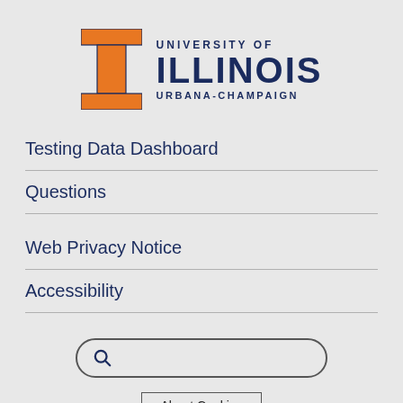[Figure (logo): University of Illinois Urbana-Champaign logo with orange block I and navy blue text reading UNIVERSITY OF ILLINOIS URBANA-CHAMPAIGN]
Testing Data Dashboard
Questions
Web Privacy Notice
Accessibility
[Figure (other): Search box with magnifying glass icon]
About Cookies